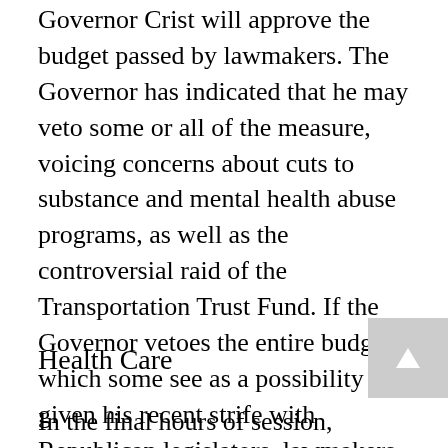Governor Crist will approve the budget passed by lawmakers. The Governor has indicated that he may veto some or all of the measure, voicing concerns about cuts to substance and mental health abuse programs, as well as the controversial raid of the Transportation Trust Fund. If the Governor vetoes the entire budget, which some see as a possibility given his recent strife with Republican legislators, lawmakers will have to return to Tallahassee for a special legislative session to pass a new plan.
Health Care
In the final hours of session, lawmakers passed a highly contentious health care bill which